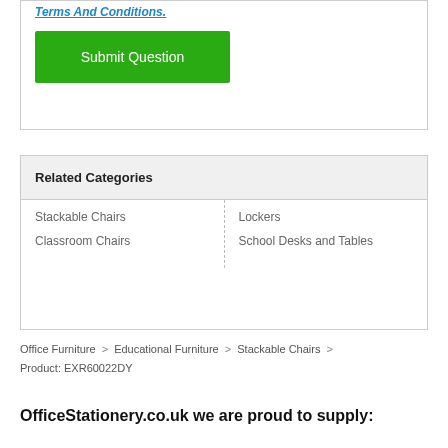Terms And Conditions.
Submit Question
Related Categories
Stackable Chairs
Lockers
Classroom Chairs
School Desks and Tables
Office Furniture > Educational Furniture > Stackable Chairs > Product: EXR60022DY
OfficeStationery.co.uk we are proud to supply: